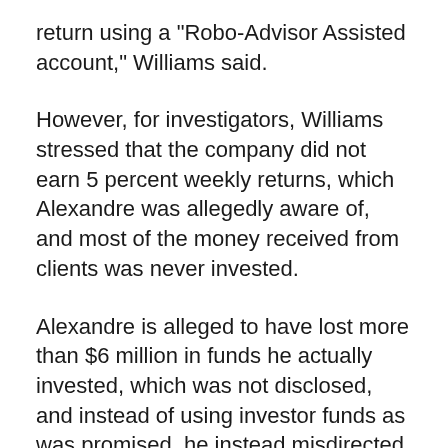return using a "Robo-Advisor Assisted account," Williams said.
However, for investigators, Williams stressed that the company did not earn 5 percent weekly returns, which Alexandre was allegedly aware of, and most of the money received from clients was never invested.
Alexandre is alleged to have lost more than $6 million in funds he actually invested, which was not disclosed, and instead of using investor funds as was promised, he instead misdirected at